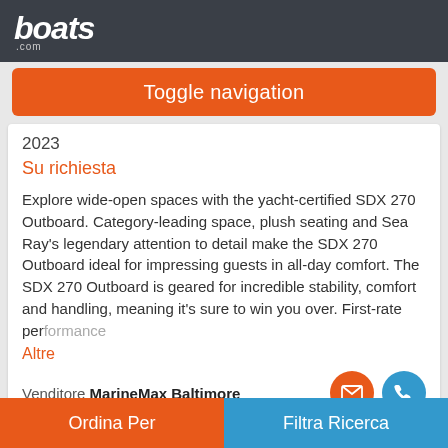boats .com
Toggle navigation
2023
Su richiesta
Explore wide-open spaces with the yacht-certified SDX 270 Outboard. Category-leading space, plush seating and Sea Ray's legendary attention to detail make the SDX 270 Outboard ideal for impressing guests in all-day comfort. The SDX 270 Outboard is geared for incredible stability, comfort and handling, meaning it's sure to win you over. First-rate performance
Altre
Venditore MarineMax Baltimore
Ordina Per
Filtra Ricerca